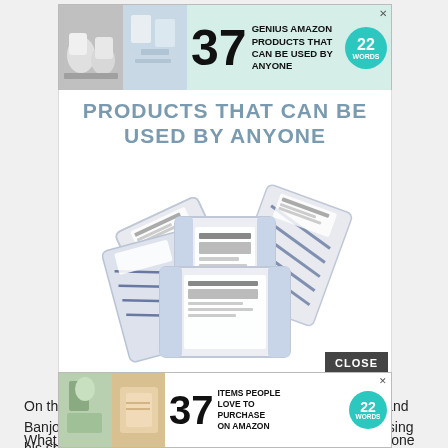[Figure (infographic): Top advertisement banner: '37 GENIUS AMAZON PRODUCTS THAT CAN BE USED BY ANYONE' with teal 22 Words badge, product images on left]
[Figure (photo): Article image showing blue geometric patterned makeup remover cleansing towelette packets arranged in a fan display, with title overlay 'PRODUCTS THAT CAN BE USED BY ANYONE']
On the other hand the random gunfire has already started and Banjo is probably not going to let me sleep. He’s already losing his shit.
What are y’all eating and drinking tonight? Why didn’t I buy one of those things... a missed
[Figure (infographic): Bottom advertisement banner: '37 ITEMS PEOPLE LOVE TO PURCHASE ON AMAZON' with teal 22 Words badge and CLOSE button overlay]